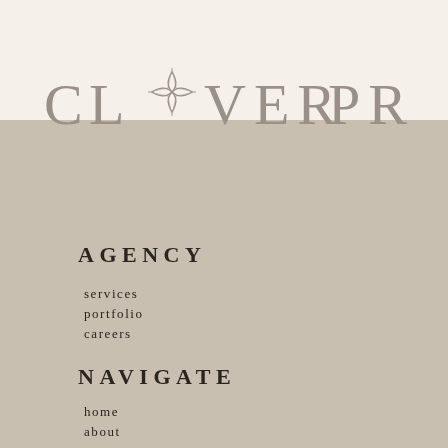[Figure (logo): Clover PR logo with decorative four-petal clover/diamond geometric symbol replacing the 'O' in CLOVER, text in muted gray on a split cream/tan background]
AGENCY
services
portfolio
careers
NAVIGATE
home
about